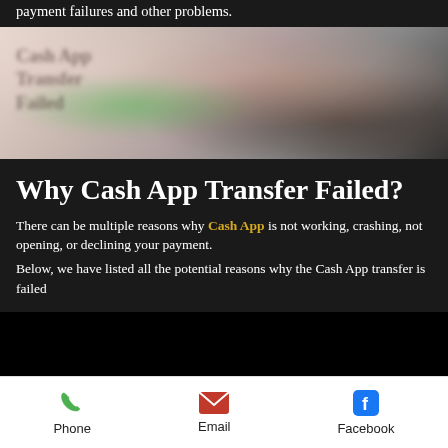payment failures and other problems.
[Figure (photo): Blurred image of a woman with text overlay, green circle element visible at bottom left]
Why Cash App Transfer Failed?
There can be multiple reasons why Cash App is not working, crashing, not opening, or declining your payment.
Below, we have listed all the potential reasons why the Cash App transfer is failed
Phone  Email  Facebook